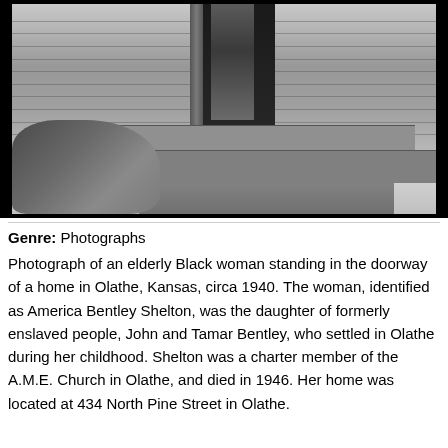[Figure (photo): Black and white photograph of an elderly Black woman standing in the doorway of a home in Olathe, Kansas, circa 1940. The image shows wooden siding, a doorway with a figure visible, porch steps, and rocky ground on the left.]
Genre: Photographs
Photograph of an elderly Black woman standing in the doorway of a home in Olathe, Kansas, circa 1940. The woman, identified as America Bentley Shelton, was the daughter of formerly enslaved people, John and Tamar Bentley, who settled in Olathe during her childhood. Shelton was a charter member of the A.M.E. Church in Olathe, and died in 1946. Her home was located at 434 North Pine Street in Olathe.